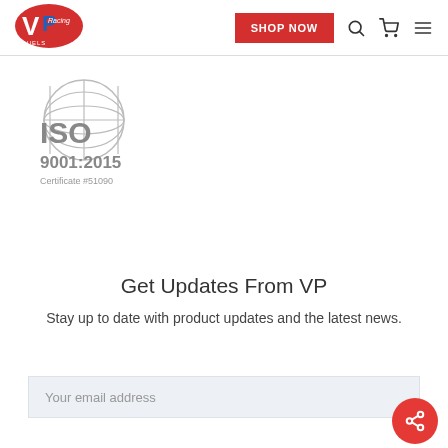[Figure (logo): VP Racing Fuels logo - red oval with VP letters and 'Racing' text]
[Figure (other): ISO 9001:2015 Certificate #51090 logo with globe icon]
Get Updates From VP
Stay up to date with product updates and the latest news.
Your email address